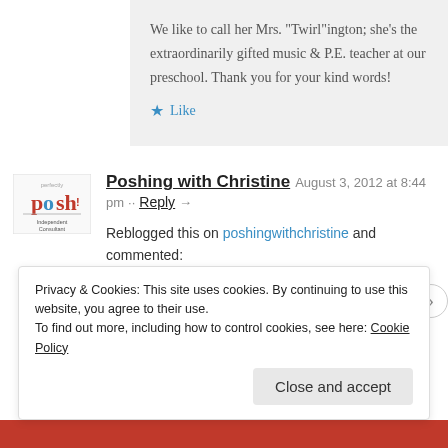We like to call her Mrs. "Twirl"ington; she's the extraordinarily gifted music & P.E. teacher at our preschool. Thank you for your kind words!
Like
Poshing with Christine  August 3, 2012 at 8:44 pm  Reply →
Reblogged this on poshingwithchristine and commented:
Great Ideas!
Privacy & Cookies: This site uses cookies. By continuing to use this website, you agree to their use. To find out more, including how to control cookies, see here: Cookie Policy
Close and accept